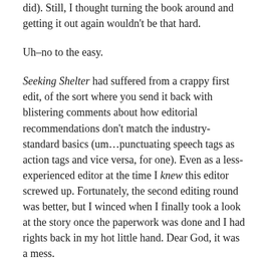did). Still, I thought turning the book around and getting it out again wouldn't be that hard.
Uh–no to the easy.
Seeking Shelter had suffered from a crappy first edit, of the sort where you send it back with blistering comments about how editorial recommendations don't match the industry-standard basics (um…punctuating speech tags as action tags and vice versa, for one). Even as a less-experienced editor at the time I knew this editor screwed up. Fortunately, the second editing round was better, but I winced when I finally took a look at the story once the paperwork was done and I had rights back in my hot little hand. Dear God, it was a mess.
At the time Seeking Shelter was released, cli-fi was just starting to become a thing. The two